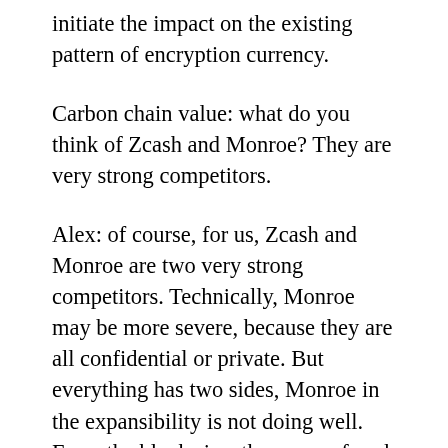initiate the impact on the existing pattern of encryption currency.
Carbon chain value: what do you think of Zcash and Monroe? They are very strong competitors.
Alex: of course, for us, Zcash and Monroe are two very strong competitors. Technically, Monroe may be more severe, because they are all confidential or private. But everything has two sides, Monroe in the expansibility is not doing well. From the block size, the space of each transaction it wants to spend fifteen to twenty times greater than Beam, five times bigger than bitcoin. Therefore, if Monroe has the same amount of trading and bitcoin, it